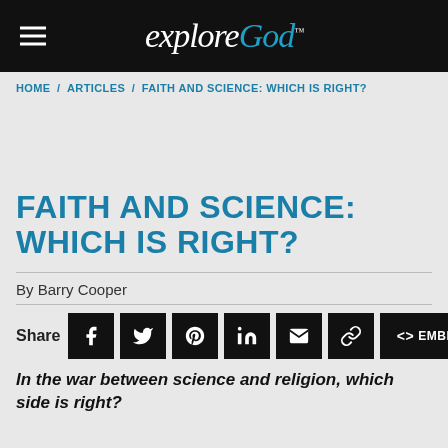explore God
HOME / ARTICLES / FAITH AND SCIENCE: WHICH IS RIGHT?
FAITH AND SCIENCE: WHICH IS RIGHT?
By Barry Cooper
Share [Facebook] [Twitter] [Pinterest] [LinkedIn] [Email] [Link] [<> EMBED]
In the war between science and religion, which side is right?